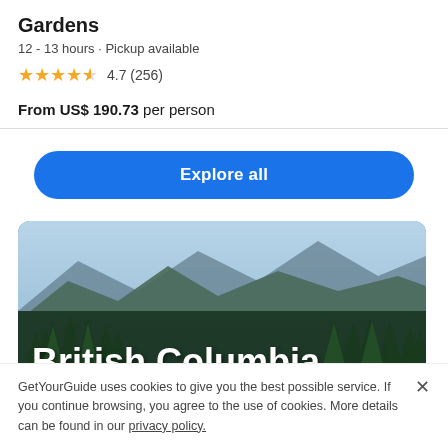Gardens
12 - 13 hours • Pickup available
4.7 (256)
From US$ 190.73 per person
Explore all
[Figure (photo): Scenic mountain landscape with evergreen forest trees and blue-green mountains in the background, labeled 'British Columbia']
GetYourGuide uses cookies to give you the best possible service. If you continue browsing, you agree to the use of cookies. More details can be found in our privacy policy.